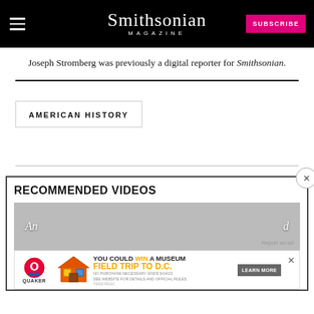Smithsonian Magazine
Joseph Stromberg was previously a digital reporter for Smithsonian.
AMERICAN HISTORY
RECOMMENDED VIDEOS
[Figure (screenshot): Advertisement banner for Quaker Museum Day promotion: 'YOU COULD WIN A MUSEUM FIELD TRIP TO D.C.' with LEARN MORE button]